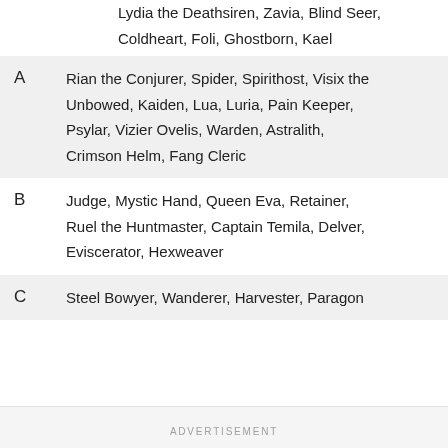Lydia the Deathsiren, Zavia, Blind Seer, Coldheart, Foli, Ghostborn, Kael
A: Rian the Conjurer, Spider, Spirithost, Visix the Unbowed, Kaiden, Lua, Luria, Pain Keeper, Psylar, Vizier Ovelis, Warden, Astralith, Crimson Helm, Fang Cleric
B: Judge, Mystic Hand, Queen Eva, Retainer, Ruel the Huntmaster, Captain Temila, Delver, Eviscerator, Hexweaver
C: Steel Bowyer, Wanderer, Harvester, Paragon
ADVERTISEMENT